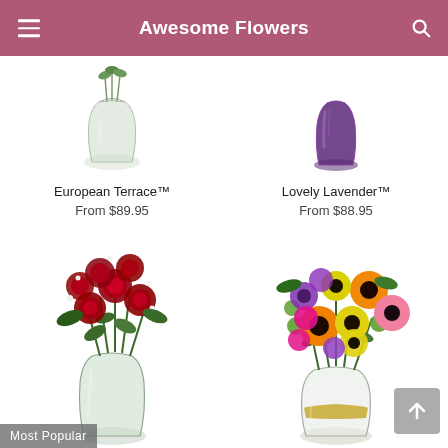Awesome Flowers
[Figure (photo): Partial view of European Terrace flower arrangement in a clear glass vase]
European Terrace™
From $89.95
[Figure (photo): Partial view of Lovely Lavender flower arrangement in a dark purple vase]
Lovely Lavender™
From $88.95
[Figure (photo): Red roses bouquet in a clear glass vase with baby's breath]
[Figure (photo): Colorful mixed flowers bouquet with gerberas, daisies, carnations in a glass vase with gold ribbon]
Most Popular